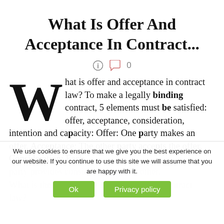What Is Offer And Acceptance In Contract...
[Figure (other): Small icon row: info circle icon, speech bubble icon, and the number 0]
What is offer and acceptance in contract law? To make a legally binding contract, 5 elements must be satisfied: offer, acceptance, consideration, intention and capacity: Offer: One party makes an offer. Acceptance: The other party accepts the offer. Consideration: Each party provides consideration to the other.
What is the general rule of acceptance in contract law?
We use cookies to ensure that we give you the best experience on our website. If you continue to use this site we will assume that you are happy with it.
Ok | Privacy policy